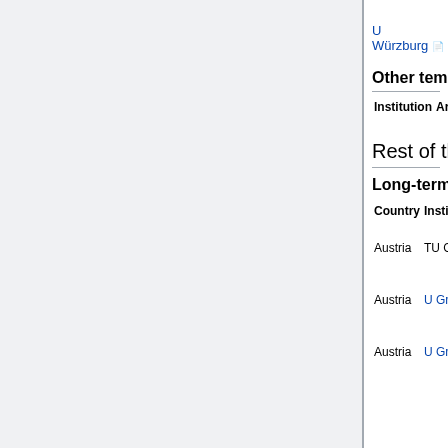|  | (W3) | 2014 |
| U Würzburg 📄 | dyn sys (W2) | Aug 1, 2014 |
Other temporary positions
| Institution | Areas | Type | Apply by | Short lists/offers |
| --- | --- | --- | --- | --- |
Rest of the World
Long-term positions
| Country | Institution | Areas | Apply by |
| --- | --- | --- | --- |
| Austria | TU Graz | stoch, actuarial (t) | Oct 12, 2014 |
| Austria | U Graz | applied PDE (6y) | Jul 23, 2014 |
| Austria | U Graz | applied PDE (6y) | Jul 23, 2014 |